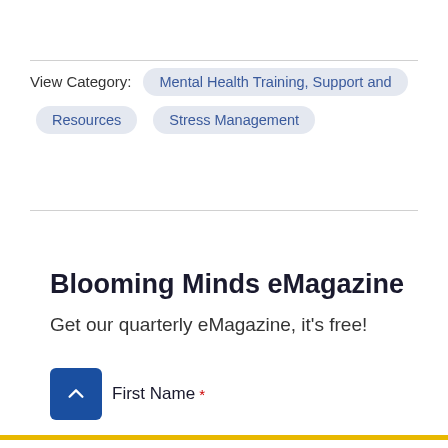View Category: Mental Health Training, Support and Resources  Stress Management
Blooming Minds eMagazine
Get our quarterly eMagazine, it's free!
First Name *